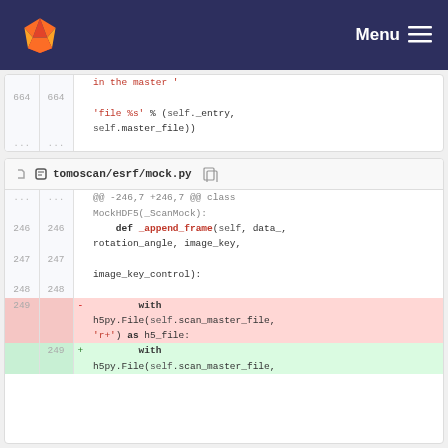GitLab navigation — Menu
[Figure (screenshot): Code diff block showing lines 664 with Python string continuation 'file %s' % (self._entry, self.master_file))]
[Figure (screenshot): Code diff block for tomoscan/esrf/mock.py showing @@ -246,7 +246,7 @@ class MockHDF5(_ScanMock): with def _append_frame, lines 246-249 showing deletion/addition of with h5py.File(self.scan_master_file, 'r+') as h5_file:]